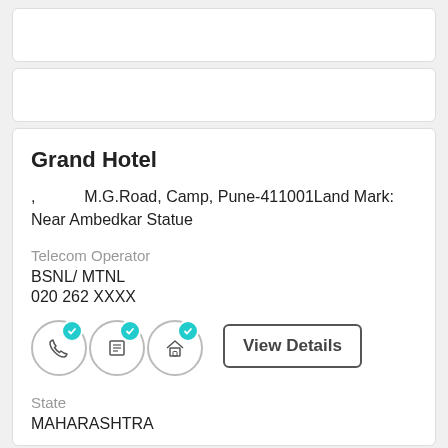Grand Hotel
, M.G.Road, Camp, Pune-411001Land Mark: Near Ambedkar Statue
Telecom Operator
BSNL/ MTNL
020 262 XXXX
[Figure (infographic): Three circular icons with teal checkmarks (phone, list, house) and a View Details button]
State
MAHARASHTRA